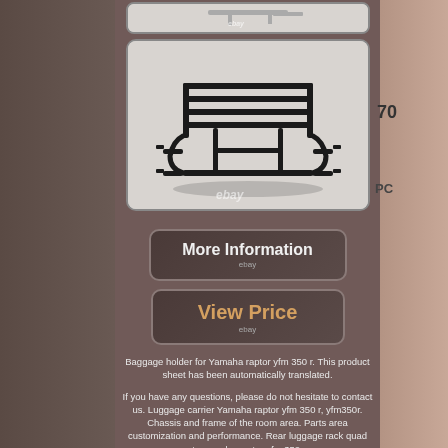[Figure (photo): Small top image of luggage rack/bracket parts on white background with ebay watermark]
[Figure (photo): Main product photo of black Yamaha raptor yfm 350r rear luggage carrier rack on white background with ebay watermark]
[Figure (other): More Information button with ebay label]
[Figure (other): View Price button with ebay label]
Baggage holder for Yamaha raptor yfm 350 r. This product sheet has been automatically translated.
If you have any questions, please do not hesitate to contact us. Luggage carrier Yamaha raptor yfm 350 r, yfm350r. Chassis and frame of the room area. Parts area customization and performance. Rear luggage rack quad atv yamaha raptor yfm 350 r.